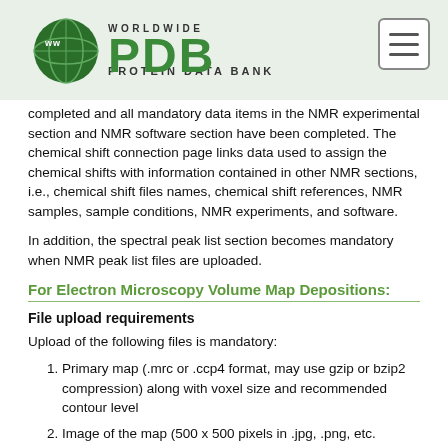Worldwide Protein Data Bank
completed and all mandatory data items in the NMR experimental section and NMR software section have been completed. The chemical shift connection page links data used to assign the chemical shifts with information contained in other NMR sections, i.e., chemical shift files names, chemical shift references, NMR samples, sample conditions, NMR experiments, and software.
In addition, the spectral peak list section becomes mandatory when NMR peak list files are uploaded.
For Electron Microscopy Volume Map Depositions:
File upload requirements
Upload of the following files is mandatory:
Primary map (.mrc or .ccp4 format, may use gzip or bzip2 compression) along with voxel size and recommended contour level
Image of the map (500 x 500 pixels in .jpg, .png, etc. format)